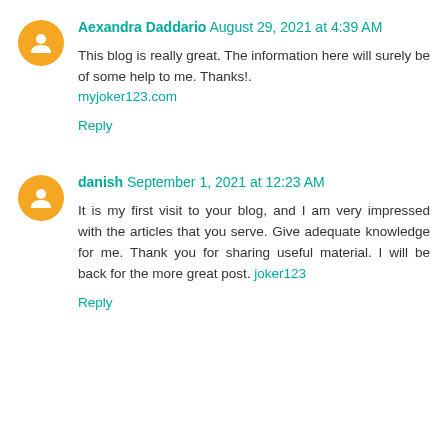Aexandra Daddario August 29, 2021 at 4:39 AM
This blog is really great. The information here will surely be of some help to me. Thanks!. myjoker123.com
Reply
danish September 1, 2021 at 12:23 AM
It is my first visit to your blog, and I am very impressed with the articles that you serve. Give adequate knowledge for me. Thank you for sharing useful material. I will be back for the more great post. joker123
Reply